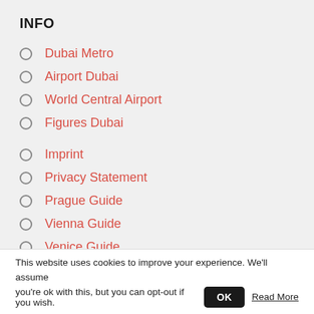INFO
Dubai Metro
Airport Dubai
World Central Airport
Figures Dubai
Imprint
Privacy Statement
Prague Guide
Vienna Guide
Venice Guide
London Guide
This website uses cookies to improve your experience. We'll assume you're ok with this, but you can opt-out if you wish. OK Read More